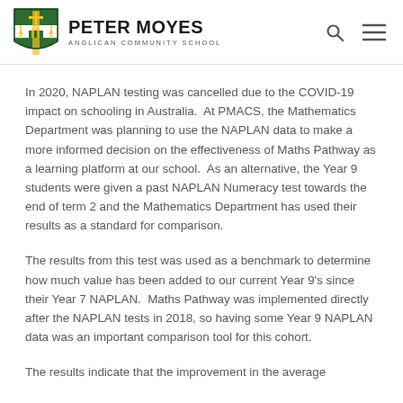PETER MOYES ANGLICAN COMMUNITY SCHOOL
In 2020, NAPLAN testing was cancelled due to the COVID-19 impact on schooling in Australia.  At PMACS, the Mathematics Department was planning to use the NAPLAN data to make a more informed decision on the effectiveness of Maths Pathway as a learning platform at our school.  As an alternative, the Year 9 students were given a past NAPLAN Numeracy test towards the end of term 2 and the Mathematics Department has used their results as a standard for comparison.
The results from this test was used as a benchmark to determine how much value has been added to our current Year 9's since their Year 7 NAPLAN.  Maths Pathway was implemented directly after the NAPLAN tests in 2018, so having some Year 9 NAPLAN data was an important comparison tool for this cohort.
The results indicate that the improvement in the average